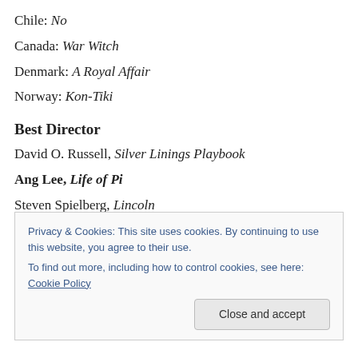Chile: No
Canada: War Witch
Denmark: A Royal Affair
Norway: Kon-Tiki
Best Director
David O. Russell, Silver Linings Playbook
Ang Lee, Life of Pi
Steven Spielberg, Lincoln
Michael Haneke, Amour
Benh Zeitlin, Beasts of the Southern Wild
Privacy & Cookies: This site uses cookies. By continuing to use this website, you agree to their use. To find out more, including how to control cookies, see here: Cookie Policy